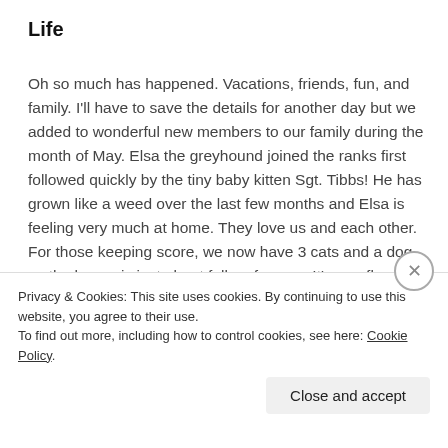Life
Oh so much has happened.  Vacations, friends, fun, and family.  I'll have to save the details for another day but we added to wonderful new members to our family during the month of May.  Elsa the greyhound joined the ranks first followed quickly by the tiny baby kitten Sgt. Tibbs!  He has grown like a weed over the last few months and Elsa is feeling very much at home.  They love us and each other.  For those keeping score, we now have 3 cats and a dog so the house is just about full up for now.  It's overflowing with love and I wouldn't have it any other way.
Privacy & Cookies: This site uses cookies. By continuing to use this website, you agree to their use.
To find out more, including how to control cookies, see here: Cookie Policy
Close and accept